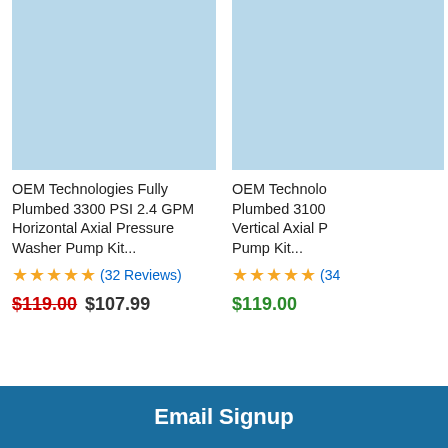[Figure (photo): Product image placeholder - light blue rectangle for OEM Technologies Fully Plumbed 3300 PSI 2.4 GPM Horizontal Axial Pressure Washer Pump Kit]
OEM Technologies Fully Plumbed 3300 PSI 2.4 GPM Horizontal Axial Pressure Washer Pump Kit
★★★★½ (32 Reviews)
$119.00 $107.99
[Figure (photo): Product image placeholder - light blue rectangle for OEM Technologies Fully Plumbed 3100 Vertical Axial Pressure Pump Kit (partially visible)]
OEM Technologies Fully Plumbed 3100 Vertical Axial Pressure Pump Kit
★★★★½ (34
$119.00
Email Signup